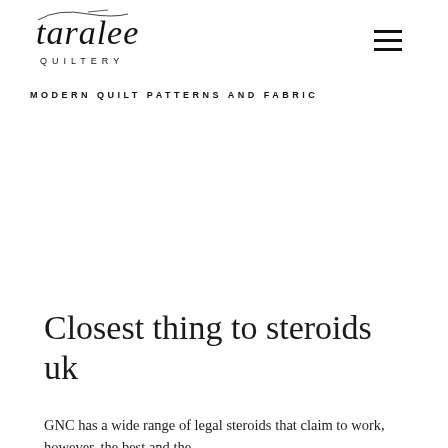[Figure (logo): Taralee Quiltery logo — cursive script 'taralee' above 'QUILTERY' in spaced uppercase sans-serif]
MODERN QUILT PATTERNS and FABRIC
Closest thing to steroids uk
GNC has a wide range of legal steroids that claim to work, however, the best and the